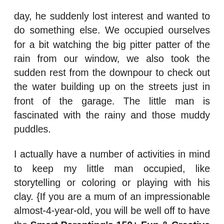day, he suddenly lost interest and wanted to do something else. We occupied ourselves for a bit watching the big pitter patter of the rain from our window, we also took the sudden rest from the downpour to check out the water building up on the streets just in front of the garage. The little man is fascinated with the rainy and those muddy puddles.
I actually have a number of activities in mind to keep my little man occupied, like storytelling or coloring or playing with his clay. {If you are a mum of an impressionable almost-4-year-old, you will be well off to have the Smart Parenting's 150+ Fun & Creative Activities For Kids so you will never run out of ideas, and pray that your children like them and cooperates :}